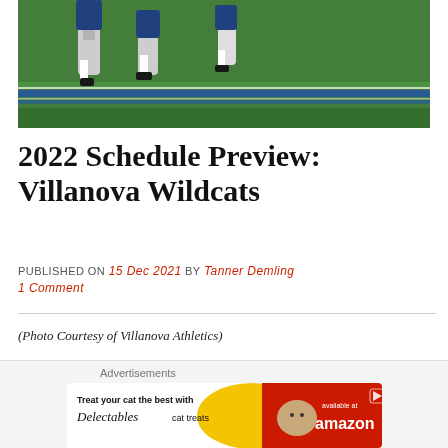[Figure (photo): Football players on grass field with blue yard lines visible, close-up of legs and cleats during a play]
2022 Schedule Preview: Villanova Wildcats
PUBLISHED ON 15 Dec 2021 by Tanner Demling 1 Comment
(Photo Courtesy of Villanova Athletics)
The Villanova Wildcats are the 29th DI team and fifth from the
[Figure (screenshot): Advertisement banner: 'Treat your cat the best with Delectables cat treats, available at amazon']